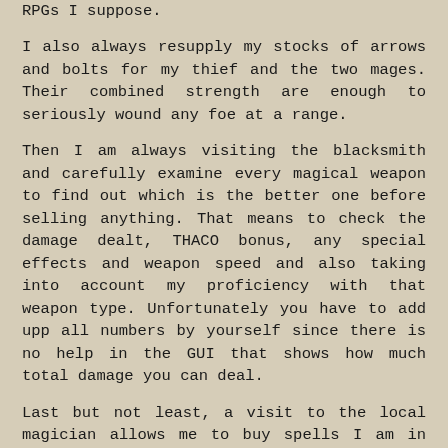RPGs I suppose.
I also always resupply my stocks of arrows and bolts for my thief and the two mages. Their combined strength are enough to seriously wound any foe at a range.
Then I am always visiting the blacksmith and carefully examine every magical weapon to find out which is the better one before selling anything. That means to check the damage dealt, THACO bonus, any special effects and weapon speed and also taking into account my proficiency with that weapon type. Unfortunately you have to add upp all numbers by yourself since there is no help in the GUI that shows how much total damage you can deal.
Last but not least, a visit to the local magician allows me to buy spells I am in need of. 90% of the spells are found during the adventure but you can buy more powerful spells if you have enough gold.
I have now gathered over 50.000 gold so I can buy some expensive magical weapons but I don´t find them better than the ones I already have before they get...